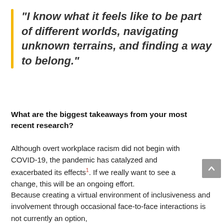“I know what it feels like to be part of different worlds, navigating unknown terrains, and finding a way to belong.”
What are the biggest takeaways from your most recent research?
Although overt workplace racism did not begin with COVID-19, the pandemic has catalyzed and exacerbated its effects1. If we really want to see a change, this will be an ongoing effort.
Because creating a virtual environment of inclusiveness and involvement through occasional face-to-face interactions is not currently an option,